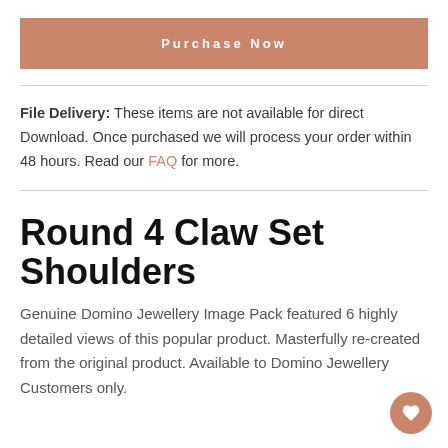Purchase Now
File Delivery: These items are not available for direct Download. Once purchased we will process your order within 48 hours. Read our FAQ for more.
Round 4 Claw Set Shoulders
Genuine Domino Jewellery Image Pack featured 6 highly detailed views of this popular product. Masterfully re-created from the original product. Available to Domino Jewellery Customers only.